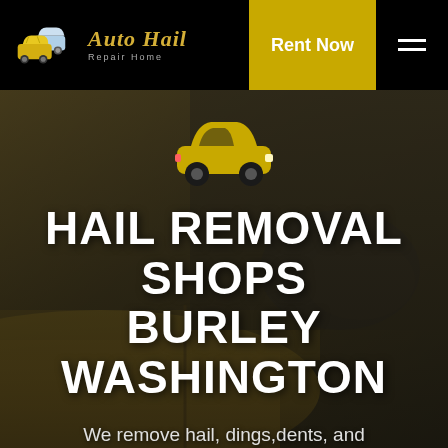[Figure (logo): Auto Hail Repair Home logo with car icons and stylized text on black navbar]
Rent Now
[Figure (illustration): Background photo of a yellow sports car interior/exterior, darkened with overlay]
[Figure (illustration): Yellow car icon SVG centered above the main title]
HAIL REMOVAL SHOPS BURLEY WASHINGTON
We remove hail, dings,dents, and more!